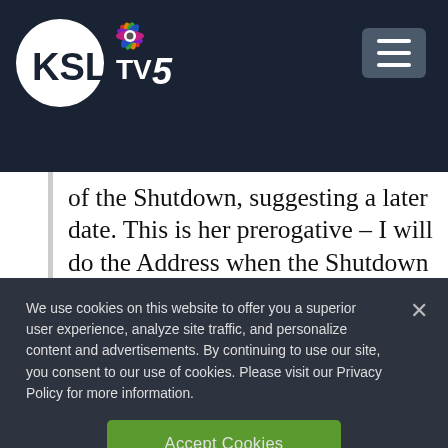KSL TV 5
of the Shutdown, suggesting a later date. This is her prerogative – I will do the Address when the Shutdown is over. I am not looking for an....
— Donald J. Trump
We use cookies on this website to offer you a superior user experience, analyze site traffic, and personalize content and advertisements. By continuing to use our site, you consent to our use of cookies. Please visit our Privacy Policy for more information.
Accept Cookies